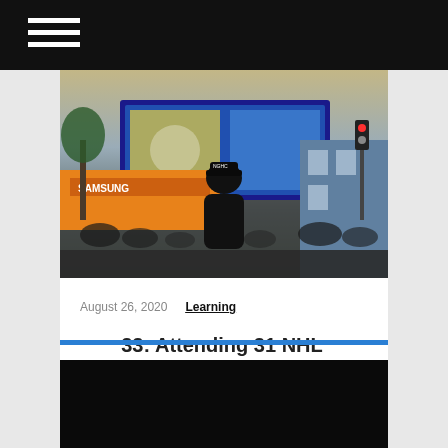Navigation menu (hamburger icon on black top bar)
[Figure (photo): Outdoor crowd scene with a person in a black jacket and cap with 'NGHC' text, viewed from behind, in front of a large billboard/screen showing sports imagery]
August 26, 2020
Learning
33: Attending 31 NHL Stadiums In 31 Days | Matt Conger
[Figure (screenshot): Black rectangle at bottom, likely a video player or embedded media]